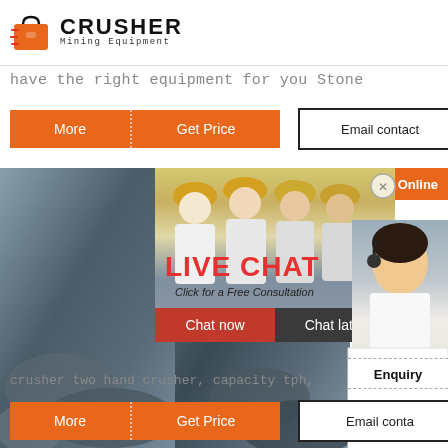[Figure (logo): Crusher Mining Equipment logo with orange shopping bag icon and bold CRUSHER text]
have the right equipment for you Stone
More | Get Price | Email contact
[Figure (infographic): Live chat popup overlay showing construction workers in hard hats, LIVE CHAT heading in red, 'Click for a Free Consultation' subtitle, Chat now and Chat later buttons, customer service agent with headset on right side, 24Hrs Online badge]
crusher two hand crusher, capacity tph,
Need questions & suggestion? Chat Now
Enquiry
mumumugoods@gmail.com
More | Get Price | Email conta